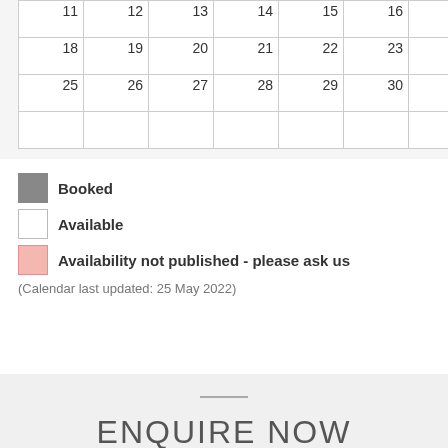| 11 | 12 | 13 | 14 | 15 | 16 | 17 |
| 18 | 19 | 20 | 21 | 22 | 23 | 24 |
| 25 | 26 | 27 | 28 | 29 | 30 |  |
|  |  |  |  |  |  |  |
Booked
Available
Availability not published - please ask us
(Calendar last updated: 25 May 2022)
ENQUIRE NOW